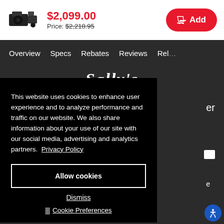[Figure (screenshot): Product thumbnail image of a camera/camcorder]
$2,099.00
Price: $2,218.95
Add
Overview   Specs   Rebates   Reviews   Rel…
[Figure (logo): Sally's logo in white italic bold font on dark background]
This website uses cookies to enhance user experience and to analyze performance and traffic on our website. We also share information about your use of our site with our social media, advertising and analytics partners.  Privacy Policy
Allow cookies
Dismiss
Cookie Preferences
Learn & Explore